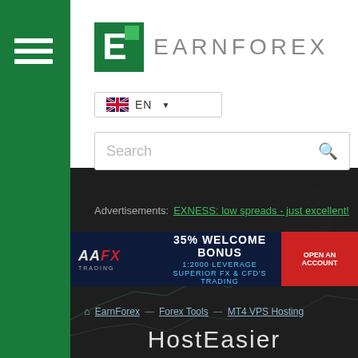[Figure (logo): EarnForex logo: green square with white letter E, followed by text EARNFOREX in grey]
[Figure (other): Language selector button showing UK flag and text EN with dropdown arrow]
[Figure (other): Search bar with placeholder text 'Search' and magnifying glass icon]
Advertisements: EXNESS: low spreads - just excellent!
[Figure (other): AAFX Trading banner ad: 35% WELCOME BONUS, 1:2000 LEVERAGE, SUPERIOR FX & CFD'S TRADING, OPEN AN ACCOUNT button]
EarnForex — Forex Tools — MT4 VPS Hosting
HostEasier